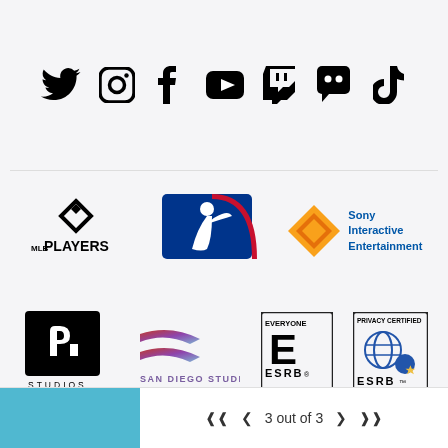[Figure (logo): Row of social media icons: Twitter, Instagram, Facebook, YouTube, Twitch, Discord, TikTok]
[Figure (logo): MLB Players Association logo]
[Figure (logo): MLB logo (batter silhouette with blue and red)]
[Figure (logo): Sony Interactive Entertainment logo with diamond shape]
[Figure (logo): PlayStation Studios logo (black square with PS symbol and STUDIOS. text)]
[Figure (logo): San Diego Studio logo with stylized SD arrow]
[Figure (logo): ESRB Everyone rating badge]
[Figure (logo): ESRB Privacy Certified badge]
3 out of 3